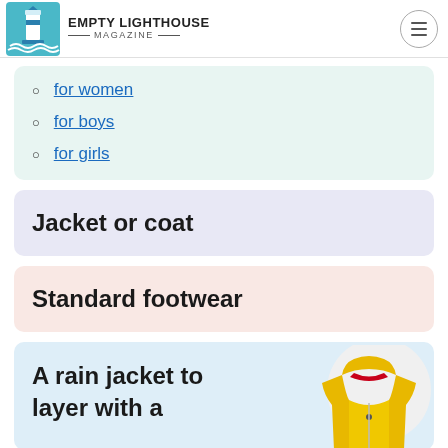EMPTY LIGHTHOUSE MAGAZINE
for women
for boys
for girls
Jacket or coat
Standard footwear
A rain jacket to layer with a